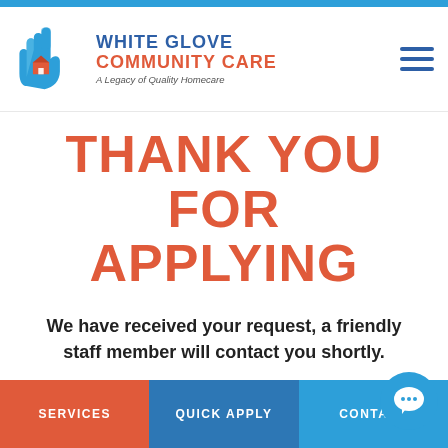[Figure (logo): White Glove Community Care logo with blue hand/house icon and brand text]
THANK YOU FOR APPLYING
We have received your request, a friendly staff member will contact you shortly.
SERVICES   QUICK APPLY   CONTACT